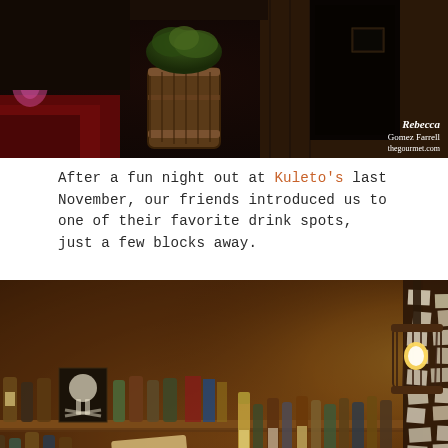[Figure (photo): Photo of a dark bar/restaurant entrance with a plant in a barrel planter, dark walls, and a partial watermark reading 'Rebecca Gomez Farrell thegourmet.com' in the bottom right corner.]
After a fun night out at Kuleto's last November, our friends introduced us to one of their favorite drink spots, just a few blocks away.
[Figure (photo): Photo of a dimly lit bar interior with warm amber lighting. Shelves are stocked with numerous liquor bottles. The right side of the bar features a pillar covered in pinned cards and mementos with a sign that reads 'Will Work for Pisco'. A decorative lantern-style light hangs from the ceiling. The overall atmosphere is cozy and eclectic.]